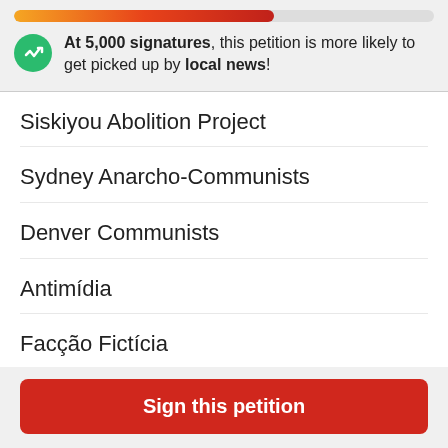[Figure (infographic): Progress bar with gradient from orange to dark red showing petition signature progress toward 5,000 goal]
At 5,000 signatures, this petition is more likely to get picked up by local news!
Siskiyou Abolition Project
Sydney Anarcho-Communists
Denver Communists
Antimídia
Facção Fictícia
Anarchist Radio Berlin
Sign this petition